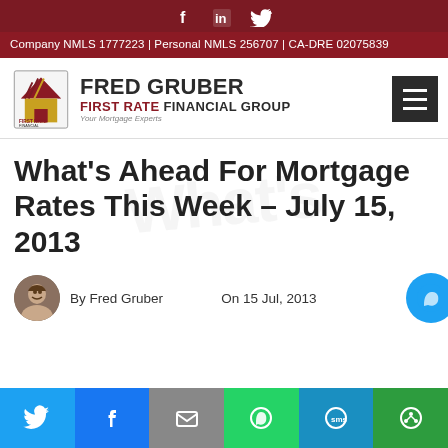f  in  🐦  Company NMLS 1777223 | Personal NMLS 256707 | CA-DRE 02075839
[Figure (logo): Fred Gruber First Rate Financial Group logo with house icon]
What's Ahead For Mortgage Rates This Week – July 15, 2013
By Fred Gruber   On 15 Jul, 2013
[Figure (infographic): Social share bar with Twitter, Facebook, Email, WhatsApp, SMS, and other sharing icons]